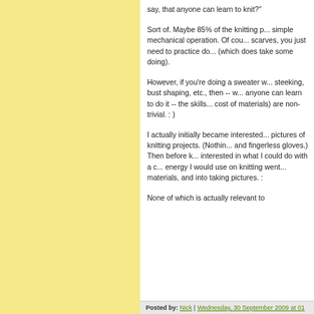say, that anyone can learn to knit?"
Sort of. Maybe 85% of the knitting p... simple mechanical operation. Of cou... scarves, you just need to practice do... (which does take some doing).
However, if you're doing a sweater w... steeking, bust shaping, etc., then -- w... anyone can learn to do it -- the skills... cost of materials) are non-trivial. : )
I actually initially became interested... pictures of knitting projects. (Nothin... and fingerless gloves.) Then before k... interested in what I could do with a c... energy I would use on knitting went... materials, and into taking pictures. :
None of which is actually relevant to
Posted by: Nick | Wednesday, 30 September 2009 at 01